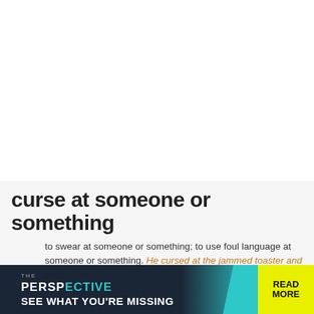curse at someone or something
to swear at someone or something; to use foul language at someone or something. He cursed at the jammed toaster and pounded his fist on the counter in anger. Please don't curse at me.
See also: curse
curse someone for something
[Figure (screenshot): Advertisement banner for 'The Perspective' newsletter with teal and dark background, yellow 'READ MORE' button.]